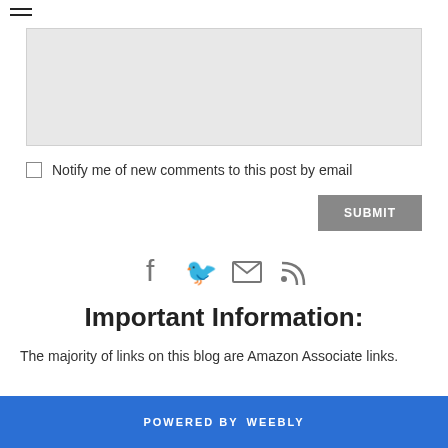[Figure (screenshot): Hamburger menu icon (three horizontal lines) in top left corner]
[Figure (screenshot): Light gray textarea/comment input box]
Notify me of new comments to this post by email
[Figure (screenshot): Submit button in gray]
[Figure (infographic): Social media icons: Facebook, Twitter, Email, RSS feed]
Important Information:
The majority of links on this blog are Amazon Associate links.
POWERED BY weebly